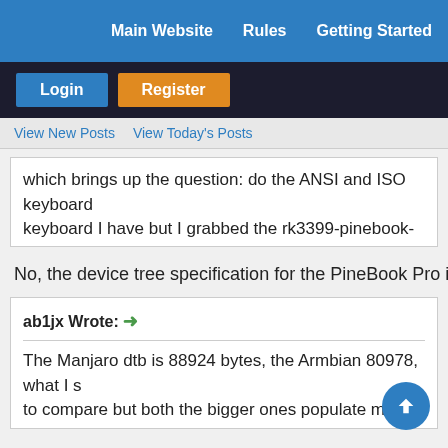Main Website   Rules   Getting Started
Login   Register
View New Posts   View Today's Posts
which brings up the question: do the ANSI and ISO keyboard
keyboard I have but I grabbed the rk3399-pinebook-pro.dtb
No, the device tree specification for the PineBook Pro is the sa
ab1jx Wrote: →

The Manjaro dtb is 88924 bytes, the Armbian 80978, what I s
to compare but both the bigger ones populate more device n
The size difference is there because Manjaro and Armbian us
some patches, while the one you used originally was old and i
automatically turn off upon plugging in the headphones?